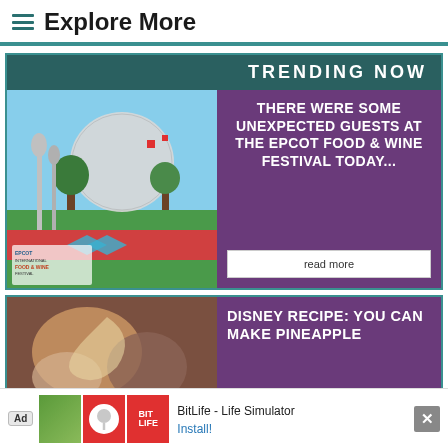Explore More
TRENDING NOW
[Figure (photo): Photo of EPCOT International Food and Wine Festival outdoor area with large geodesic sphere, decorative utensil sculptures, and colorful festival signage]
THERE WERE SOME UNEXPECTED GUESTS AT THE EPCOT FOOD & WINE FESTIVAL TODAY...
read more
[Figure (photo): Close-up photo of food items, appears to be pastry or dessert]
DISNEY RECIPE: YOU CAN MAKE PINEAPPLE
[Figure (screenshot): Ad banner for BitLife - Life Simulator app with Install button]